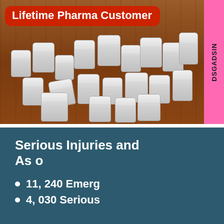[Figure (photo): Photo of many prescription pill bottles scattered on a wooden table surface, viewed from above. A pink sidebar element appears on the right edge with vertical text.]
Lifetime Pharma Customer
Serious Injuries and As o
11, 240 Emerg
4,030 Serious